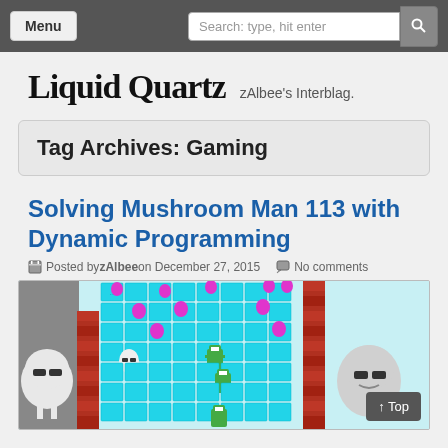Menu | Search: type, hit enter
Liquid Quartz
zAlbee's Interblag.
Tag Archives: Gaming
Solving Mushroom Man 113 with Dynamic Programming
Posted by zAlbee on December 27, 2015   No comments
[Figure (screenshot): Screenshot of a pixel-art video game showing the Mushroom Man 113 level with cyan tile grid, brick walls, pink mushroom enemies, and cartoon characters on either side.]